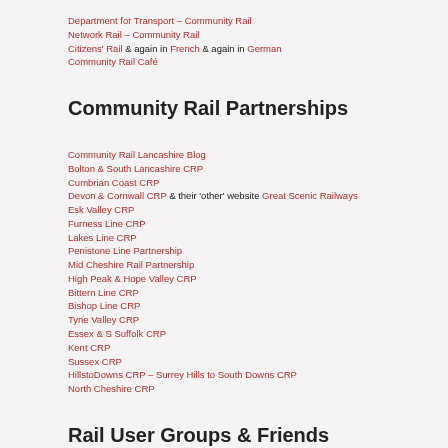Department for Transport – Community Rail
Network Rail – Community Rail
Citizens' Rail & again in French & again in German
Community Rail Café
Community Rail Partnerships
Community Rail Lancashire Blog
Bolton & South Lancashire CRP
Cumbrian Coast CRP
Devon & Cornwall CRP & their 'other' website Great Scenic Railways
Esk Valley CRP
Furness Line CRP
Lakes Line CRP
Penistone Line Partnership
Mid Cheshire Rail Partnership
High Peak & Hope Valley CRP
Bittern Line CRP
Bishop Line CRP
Tyne Valley CRP
Essex & S Suffolk CRP
Kent CRP
Sussex CRP
HillstoDowns CRP – Surrey Hills to South Downs CRP
North Cheshire CRP
Rail User Groups & Friends Organisations
Good Journey – access the best of Britain's attractions car free
Ribble Valley Rail – Clitheroe to Bolton & Manchester Victoria
Settle – Carlisle Partnership – the site to promote England's most scenic railway
Friends of the Settle Carlisle Line – the Settle-Carlisle Friends Group
Ormskirk, Preston & Southport Travellers Association – Preston to Ormskirk & Wigan to Southport
Bolton Rail Users Group
Lancaster and Skipton Rail User Group – community website for the Lancaster